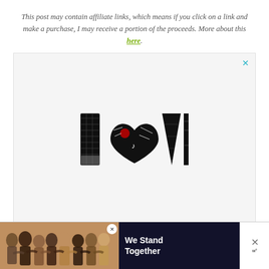This post may contain affiliate links, which means if you click on a link and make a purchase, I may receive a portion of the proceeds. More about this here.
[Figure (illustration): Large advertisement box with light gray background containing a decorative 'LOVE' text logo in black and white illustrative style. A cyan/teal X close button appears in the upper right of the ad box.]
[Figure (photo): Bottom banner advertisement showing a group of people with arms around each other viewed from behind, with text 'We Stand Together' on dark navy background. Has close buttons and side icons including an X and stylized W logo marks.]